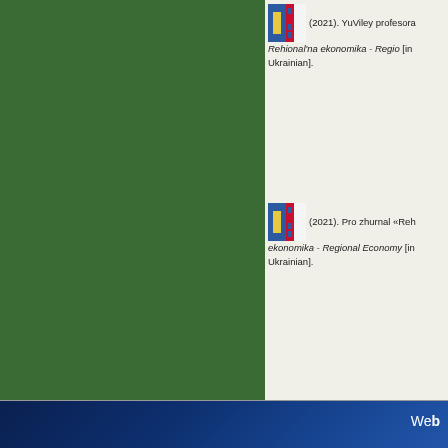[Figure (illustration): Green decorative column on left side of page]
(2021). YuViley profesora... Rehional'na ekonomika - Regional Economy... [in Ukrainian].
(2021). Pro zhurnal «Reh... ekonomika - Regional Economy... [in Ukrainian].
(2021). Pravyla dlya avto... 223-228. Retrieved from http://r...
[Figure (illustration): Light blue gradient band at bottom of page]
We...